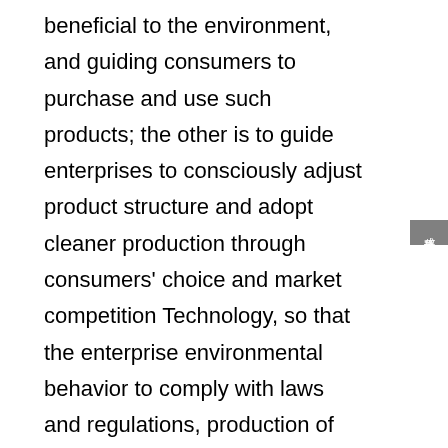beneficial to the environment, and guiding consumers to purchase and use such products; the other is to guide enterprises to consciously adjust product structure and adopt cleaner production through consumers' choice and market competition Technology, so that the enterprise environmental behavior to comply with laws and regulations, production of environmentally beneficial products.
成都十环认证 成都中国环境标志认证 成都中国环境标志产品认证 成都十环认证查询 成都十环认证官网 成都中国十环认证 成都十环标志认证
Chengdu ten ring certification Chengdu China Environmental Mark Certification Chengdu China environmental mark product certification Chengdu ten ring certification query Chengdu ten ring certification official website Chengdu China ten ring certification Chengdu ten ring mark certification